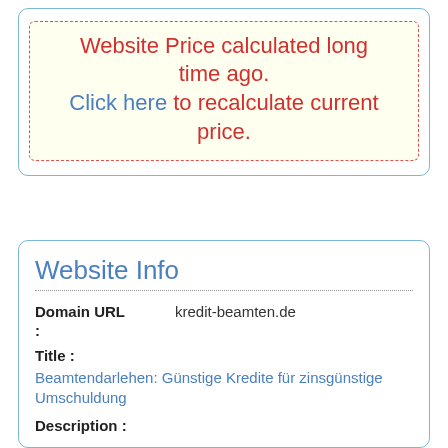Website Price calculated long time ago. Click here to recalculate current price.
Website Info
Domain URL : kredit-beamten.de
Title :
Beamtendarlehen: Günstige Kredite für zinsgünstige Umschuldung
Description :